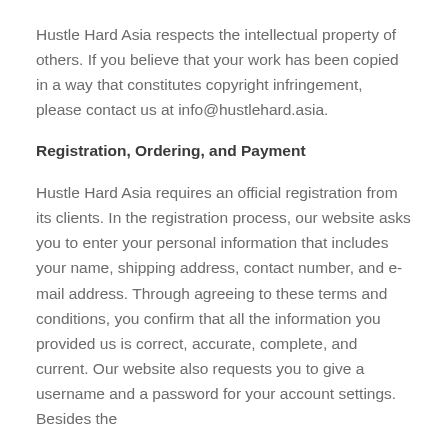Hustle Hard Asia respects the intellectual property of others. If you believe that your work has been copied in a way that constitutes copyright infringement, please contact us at info@hustlehard.asia.
Registration, Ordering, and Payment
Hustle Hard Asia requires an official registration from its clients. In the registration process, our website asks you to enter your personal information that includes your name, shipping address, contact number, and e-mail address. Through agreeing to these terms and conditions, you confirm that all the information you provided us is correct, accurate, complete, and current. Our website also requests you to give a username and a password for your account settings. Besides the